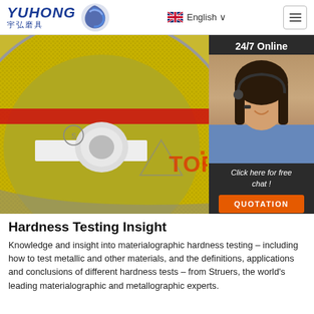YUHONG 宇弘磨具 | English | Menu
[Figure (photo): Close-up of a yellow grinding/cutting wheel (abrasive disc) with safety markings and a cutout center hole, alongside a customer service agent woman wearing a headset with '24/7 Online' label and 'Click here for free chat!' text with an orange QUOTATION button]
Hardness Testing Insight
Knowledge and insight into materialographic hardness testing – including how to test metallic and other materials, and the definitions, applications and conclusions of different hardness tests – from Struers, the world's leading materialographic and metallographic experts.